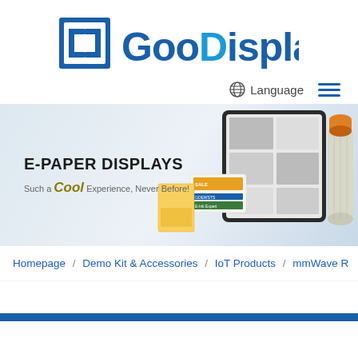[Figure (logo): GooDisplay company logo with square bracket icon and blue text 'GooDisplay']
🌐 Language  ☰
[Figure (photo): E-paper displays banner showing e-reader tablet, product boxes, and cylindrical display. Text reads 'E-PAPER DISPLAYS' and 'Such a Cool Experience, Never Before!']
Homepage / Demo Kit & Accessories / IoT Products / mmWave R
[Figure (other): Blue horizontal bar at bottom of page]